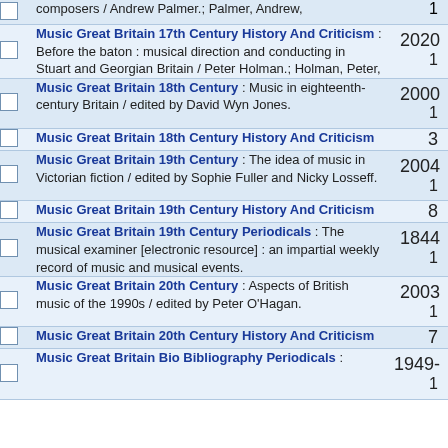|  | Subject / Title | Year | Count |
| --- | --- | --- | --- |
|  | composers / Andrew Palmer.; Palmer, Andrew, |  | 1 |
|  | Music Great Britain 17th Century History And Criticism : Before the baton : musical direction and conducting in Stuart and Georgian Britain / Peter Holman.; Holman, Peter, | 2020 | 1 |
|  | Music Great Britain 18th Century : Music in eighteenth-century Britain / edited by David Wyn Jones. | 2000 | 1 |
|  | Music Great Britain 18th Century History And Criticism |  | 3 |
|  | Music Great Britain 19th Century : The idea of music in Victorian fiction / edited by Sophie Fuller and Nicky Losseff. | 2004 | 1 |
|  | Music Great Britain 19th Century History And Criticism |  | 8 |
|  | Music Great Britain 19th Century Periodicals : The musical examiner [electronic resource] : an impartial weekly record of music and musical events. | 1844 | 1 |
|  | Music Great Britain 20th Century : Aspects of British music of the 1990s / edited by Peter O'Hagan. | 2003 | 1 |
|  | Music Great Britain 20th Century History And Criticism |  | 7 |
|  | Music Great Britain Bio Bibliography Periodicals : | 1949- | 1 |